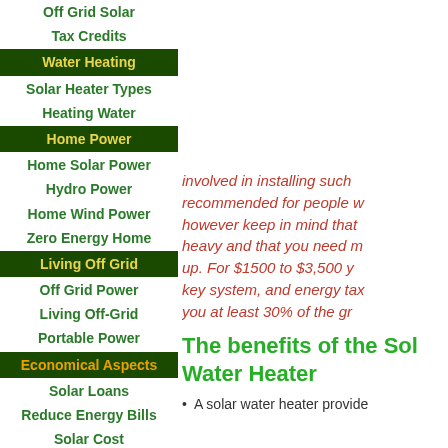Off Grid Solar
Tax Credits
Water Heating
Solar Heater Types
Heating Water
Home Power
Home Solar Power
Hydro Power
Home Wind Power
Zero Energy Home
Living Off Grid
Off Grid Power
Living Off-Grid
Portable Power
Economical Aspects
Solar Loans
Reduce Energy Bills
Solar Cost
Components
involved in installing such a system is recommended for people w... however keep in mind that... heavy and that you need m... up. For $1500 to $3,500 y... key system, and energy tax... you at least 30% of the gr...
The benefits of the Solar Water Heater
A solar water heater provide...